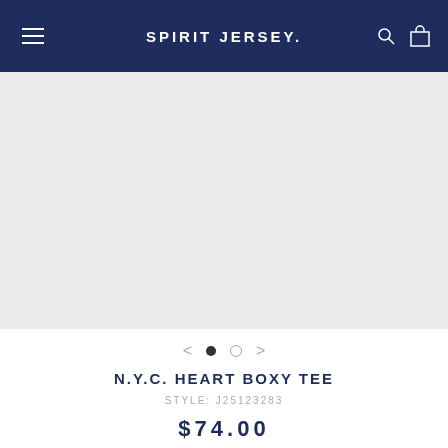SPIRIT JERSEY.
[Figure (photo): Light gray product image placeholder area for N.Y.C. Heart Boxy Tee]
< ● ○ >
N.Y.C. HEART BOXY TEE
STYLE: J25123283
$74.00
Size:
Size chart